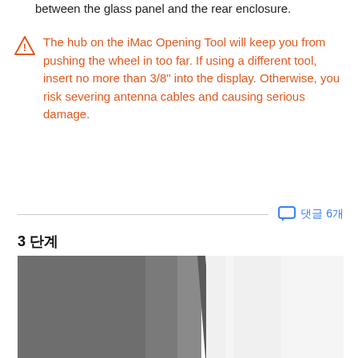between the glass panel and the rear enclosure.
The hub on the iMac Opening Tool will keep you from pushing the wheel in too far. If using a different tool, insert no more than 3/8" into the display. Otherwise, you risk severing antenna cables and causing serious damage.
댓글 6개
3 단계
[Figure (photo): Photo showing iMac being opened, with a dark aluminum rear panel on the left and a white front glass panel on the right, slightly separated.]